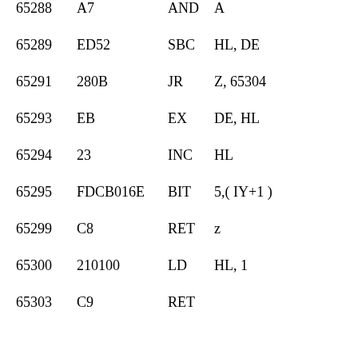| 65288 | A7 | AND | A |
| 65289 | ED52 | SBC | HL, DE |
| 65291 | 280B | JR | Z, 65304 |
| 65293 | EB | EX | DE, HL |
| 65294 | 23 | INC | HL |
| 65295 | FDCB016E | BIT | 5,( IY+1 ) |
| 65299 | C8 | RET | z |
| 65300 | 210100 | LD | HL, 1 |
| 65303 | C9 | RET |  |